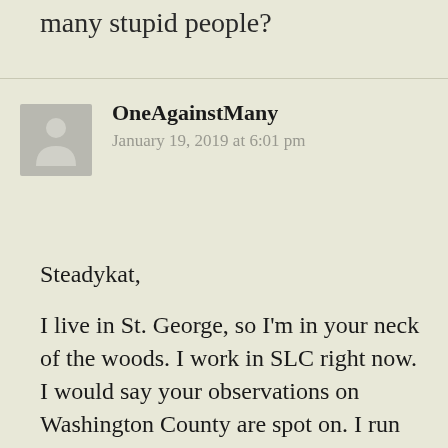many stupid people?
OneAgainstMany
January 19, 2019 at 6:01 pm
Steadykat,
I live in St. George, so I'm in your neck of the woods. I work in SLC right now. I would say your observations on Washington County are spot on. I run about 70-100 miles a week, so I literally run the entire cities of Ivins, Santa Clara, Bloomington, Washington,